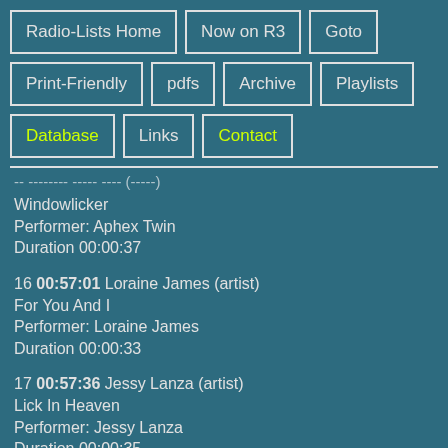Radio-Lists Home | Now on R3 | Goto | Print-Friendly | pdfs | Archive | Playlists | Database | Links | Contact
Windowlicker
Performer: Aphex Twin
Duration 00:00:37
16 00:57:01 Loraine James (artist)
For You And I
Performer: Loraine James
Duration 00:00:33
17 00:57:36 Jessy Lanza (artist)
Lick In Heaven
Performer: Jessy Lanza
Duration 00:00:35
18 00:58:08 Pop Smoke (artist)
Slide The D...